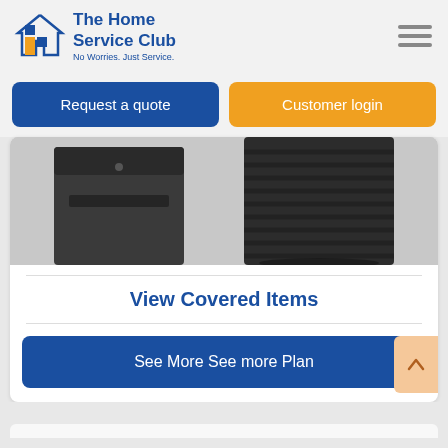[Figure (logo): The Home Service Club logo with house icon and colored squares, tagline: No Worries. Just Service.]
Request a quote
Customer login
[Figure (photo): HVAC units - a dark furnace/air handler unit on the left and a black ribbed outdoor AC condenser unit on the right, partially cropped]
View Covered Items
See More See more Plan